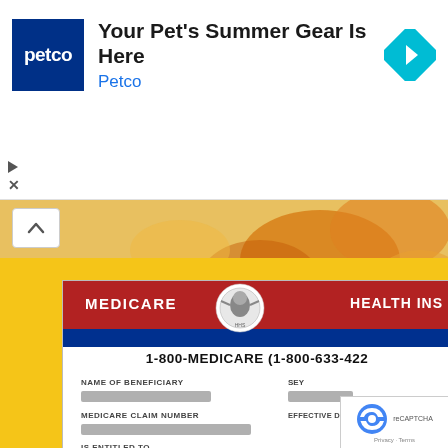[Figure (screenshot): Petco advertisement banner with Petco logo, headline 'Your Pet's Summer Gear Is Here', and navigation arrow icon]
[Figure (photo): Close-up photo of food with orange/yellow tones, partially shown behind a chevron-up arrow button]
If Your Dog Eats Grass (Do This Every Day)
NutraThrive
[Figure (photo): Medicare Health Insurance card on yellow background showing card fields: NAME OF BENEFICIARY (redacted), MEDICARE CLAIM NUMBER (redacted), IS ENTITLED TO, HOSPITAL (PART A), phone number 1-800-MEDICARE (1-800-633-4227), EFFECTIVE DATE 06-01-, SEX (redacted)]